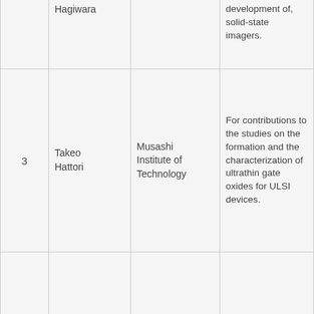| # | Name | Organization | Description |
| --- | --- | --- | --- |
|  | Hagiwara |  | development of, solid-state imagers. |
| 3 | Takeo Hattori | Musashi Institute of Technology | For contributions to the studies on the formation and the characterization of ultrathin gate oxides for ULSI devices. |
| 4 | Takao Hinamoto | Hiroshima Univ. | For contributions to the design, synthesis, realization and sensitivity minimization of two-dimensional digital filters. |
| 5 | Satoshi Hiyamizu | Osaka Univ. | For contributions to the realization of the first high electron mobility transister (HEMT). |
|  |  |  | For contributions to... |